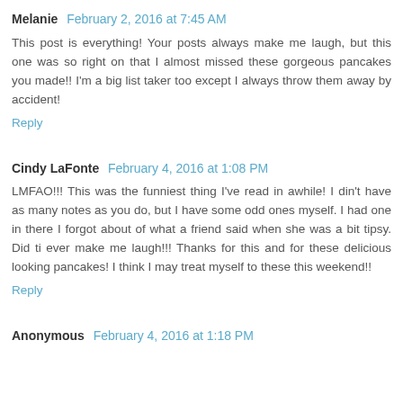Melanie  February 2, 2016 at 7:45 AM
This post is everything! Your posts always make me laugh, but this one was so right on that I almost missed these gorgeous pancakes you made!!  I'm a big list taker too except I always throw them away by accident!
Reply
Cindy LaFonte  February 4, 2016 at 1:08 PM
LMFAO!!! This was the funniest thing I've read in awhile! I din't have as many notes as you do, but I have some odd ones myself. I had one in there I forgot about of what a friend said when she was a bit tipsy. Did ti ever make me laugh!!!  Thanks for this and for these delicious looking pancakes! I think I may treat myself to these this weekend!!
Reply
Anonymous  February 4, 2016 at 1:18 PM